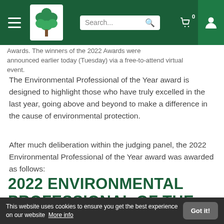Navigation bar with hamburger menu, tree logo, search box, cart icon (0), and user icon
Awards. The winners of the 2022 Awards were announced earlier today (Tuesday) via a free-to-attend virtual event.
The Environmental Professional of the Year award is designed to highlight those who have truly excelled in the last year, going above and beyond to make a difference in the cause of environmental protection.
After much deliberation within the judging panel, the 2022 Environmental Professional of the Year award was awarded as follows:
2022 ENVIRONMENTAL PROFESSIONAL OF THE YEAR
WINNER
This website uses cookies to ensure you get the best experience on our website  More info  Got it!